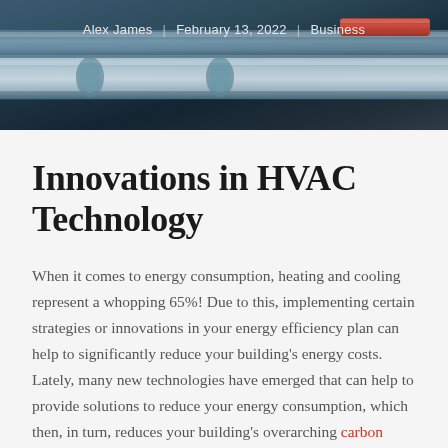[Figure (photo): Dark blue industrial HVAC pipes/hardware in background, blurred, with overlaid metadata text showing author, date, and category]
Alex James | February 13, 2022 | Business
Innovations in HVAC Technology
When it comes to energy consumption, heating and cooling represent a whopping 65%! Due to this, implementing certain strategies or innovations in your energy efficiency plan can help to significantly reduce your building's energy costs. Lately, many new technologies have emerged that can help to provide solutions to reduce your energy consumption, which then, in turn, reduces your building's overarching carbon